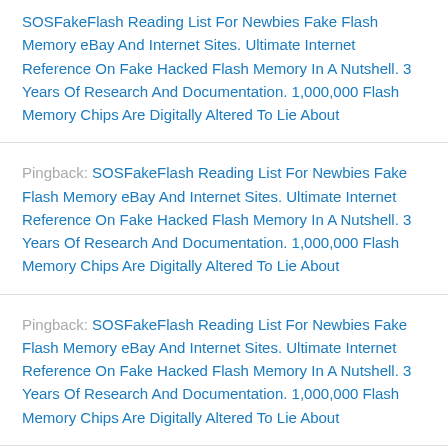SOSFakeFlash Reading List For Newbies Fake Flash Memory eBay And Internet Sites. Ultimate Internet Reference On Fake Hacked Flash Memory In A Nutshell. 3 Years Of Research And Documentation. 1,000,000 Flash Memory Chips Are Digitally Altered To Lie About
Pingback: SOSFakeFlash Reading List For Newbies Fake Flash Memory eBay And Internet Sites. Ultimate Internet Reference On Fake Hacked Flash Memory In A Nutshell. 3 Years Of Research And Documentation. 1,000,000 Flash Memory Chips Are Digitally Altered To Lie About
Pingback: SOSFakeFlash Reading List For Newbies Fake Flash Memory eBay And Internet Sites. Ultimate Internet Reference On Fake Hacked Flash Memory In A Nutshell. 3 Years Of Research And Documentation. 1,000,000 Flash Memory Chips Are Digitally Altered To Lie About